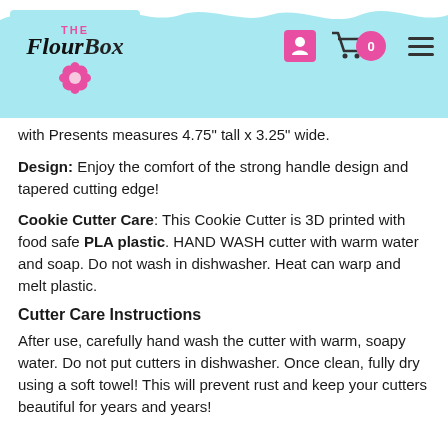[Figure (logo): The Flour Box logo with pink flower icon on light blue background with wavy top decoration and navigation icons (user icon, cart with 0 badge, hamburger menu)]
with Presents measures 4.75" tall x 3.25" wide.
Design: Enjoy the comfort of the strong handle design and tapered cutting edge!
Cookie Cutter Care: This Cookie Cutter is 3D printed with food safe PLA plastic. HAND WASH cutter with warm water and soap. Do not wash in dishwasher. Heat can warp and melt plastic.
Cutter Care Instructions
After use, carefully hand wash the cutter with warm, soapy water. Do not put cutters in dishwasher. Once clean, fully dry using a soft towel! This will prevent rust and keep your cutters beautiful for years and years!